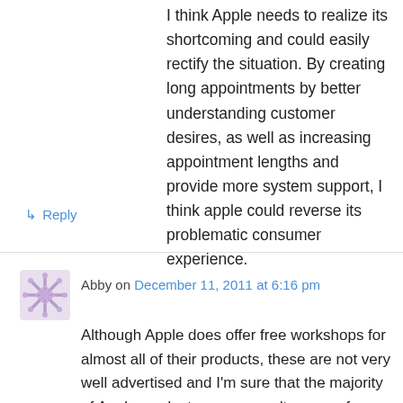I think Apple needs to realize its shortcoming and could easily rectify the situation. By creating long appointments by better understanding customer desires, as well as increasing appointment lengths and provide more system support, I think apple could reverse its problematic consumer experience.
↳ Reply
Abby on December 11, 2011 at 6:16 pm
Although Apple does offer free workshops for almost all of their products, these are not very well advertised and I'm sure that the majority of Apple product owners aren't aware of them, which creates a need for stores like Tech